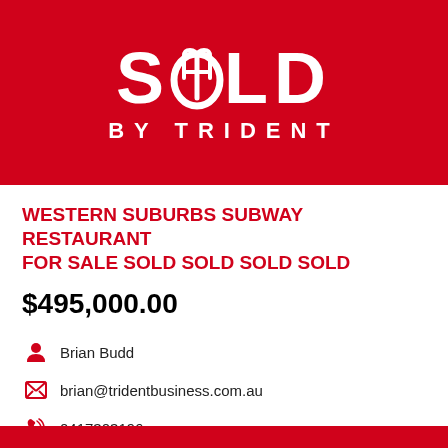[Figure (logo): SOLD BY TRIDENT logo on red background with trident icon replacing the O in SOLD]
WESTERN SUBURBS SUBWAY RESTAURANT FOR SALE SOLD SOLD SOLD SOLD
$495,000.00
Brian Budd
brian@tridentbusiness.com.au
0417303196